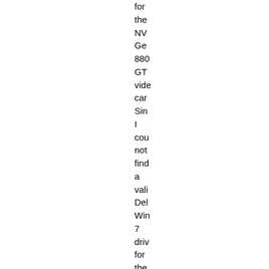for the NV Ge 880 GT vide car Sin I cou not find a vali Del Win 7 driv for the vide car